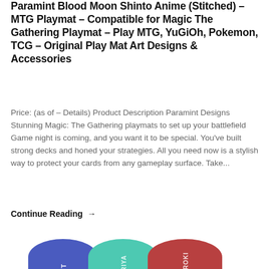Paramint Blood Moon Shinto Anime (Stitched) – MTG Playmat – Compatible for Magic The Gathering Playmat – Play MTG, YuGiOh, Pokemon, TCG – Original Play Mat Art Designs & Accessories
Price: (as of – Details) Product Description Paramint Designs Stunning Magic: The Gathering playmats to set up your battlefield Game night is coming, and you want it to be special. You've built strong decks and honed your strategies. All you need now is a stylish way to protect your cards from any gameplay surface. Take...
Continue Reading →
[Figure (photo): Photo of three pairs of anime-themed ankle socks. Top row shows three socks: blue sock labeled 'ALL MIGHT', teal sock labeled 'IZUKU MIDORIYA', and red/maroon sock labeled 'SHOTO TODOROKI'. Bottom row shows three more socks partially visible in gray, green, and dark gray colors.]